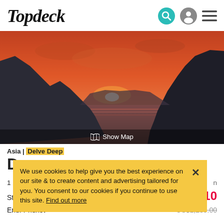Topdeck
[Figure (photo): Sunset panorama over water with dramatic cliffs silhouetted on left and right, orange-red sky with sun setting at horizon, Show Map overlay bar at bottom]
Asia | Delve Deep
We use cookies to help give you the best experience on our site & to create content and advertising tailored for you. You consent to our cookies if you continue to use this site. Find out more
Start: Bangkok
US$1,160.10
End: Phuket
US$1,289.00